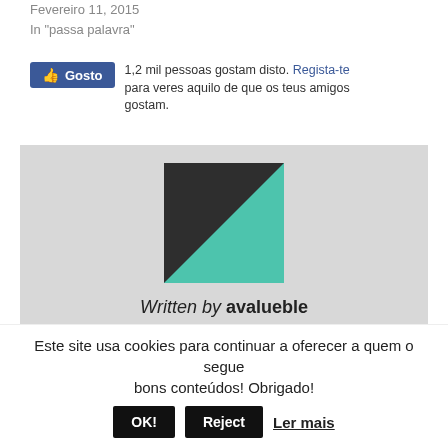Fevereiro 11, 2015
In "passa palavra"
[Figure (infographic): Facebook Like button widget showing 1,2 mil pessoas gostam disto. Regista-te para veres aquilo de que os teus amigos gostam.]
[Figure (logo): Avalueble logo: a square split diagonally into dark charcoal upper-left triangle and teal lower-right triangle. Below: 'Written by avalueble'. Below: 'produto composto q.b. Sou blogger assumida desde 2000. Sou account manager numa agência de comunicação e']
Este site usa cookies para continuar a oferecer a quem o segue
bons conteúdos! Obrigado!